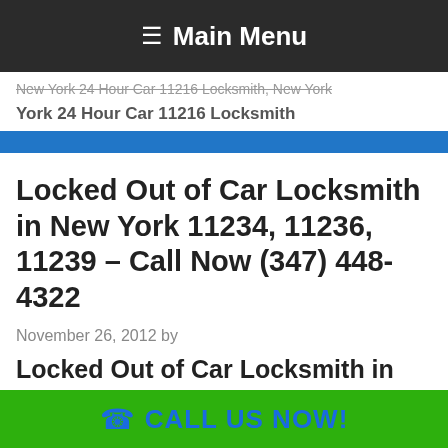☰ Main Menu
New York 24 Hour Car 11216 Locksmith, New York 24 Hour Car 11216 Locksmith
Locked Out of Car Locksmith in New York 11234, 11236, 11239 – Call Now (347) 448-4322
November 26, 2012 by
Locked Out of Car Locksmith in New York 11234, 11236, 11239
CALL US NOW!